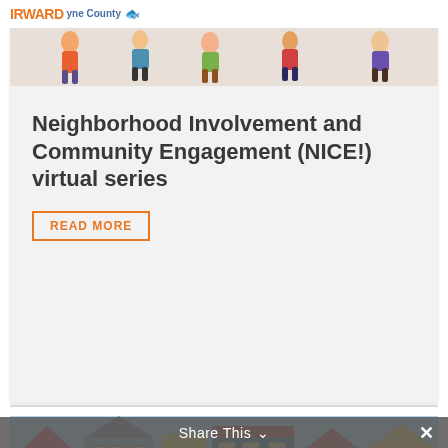IRWARD Wayne County
Neighborhood Involvement and Community Engagement (NICE!) virtual series
READ MORE
[Figure (illustration): Illustrated banner showing cartoon people walking, colorful neighborhood illustration, header of a Wayne County government webpage]
[Figure (illustration): Colorful illustration of cartoon neighborhood houses in blue, green, orange tones above a light blue background with text 'when we change people, we change places.']
when we change people, we change places.
Share This ∨  ✕